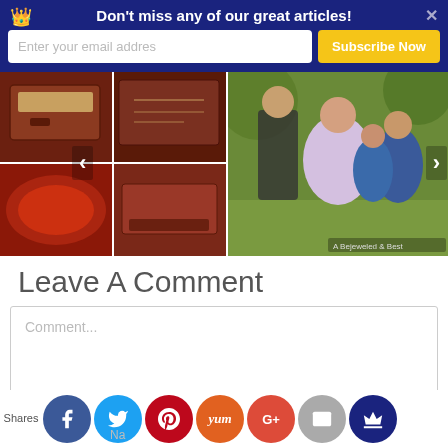Don't miss any of our great articles!
Enter your email addres
Subscribe Now
[Figure (photo): Two image panels: left panel shows a 2x2 grid of dark reddish-brown product/document tray images; right panel shows a family photo of a woman and two girls seated outdoors.]
Leave A Comment
Comment...
Shares